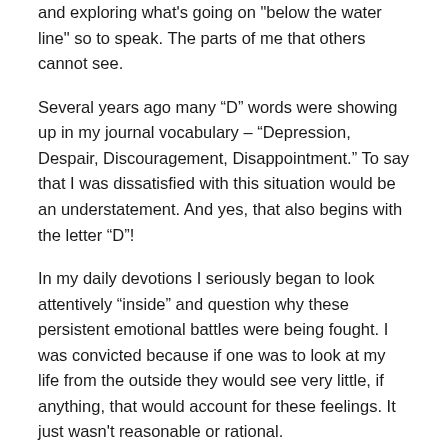and exploring what's going on "below the water line" so to speak. The parts of me that others cannot see.
Several years ago many “D” words were showing up in my journal vocabulary – “Depression, Despair, Discouragement, Disappointment.” To say that I was dissatisfied with this situation would be an understatement. And yes, that also begins with the letter “D”!
In my daily devotions I seriously began to look attentively “inside” and question why these persistent emotional battles were being fought. I was convicted because if one was to look at my life from the outside they would see very little, if anything, that would account for these feelings. It just wasn't reasonable or rational.
To some degree I discovered that many of the emotional